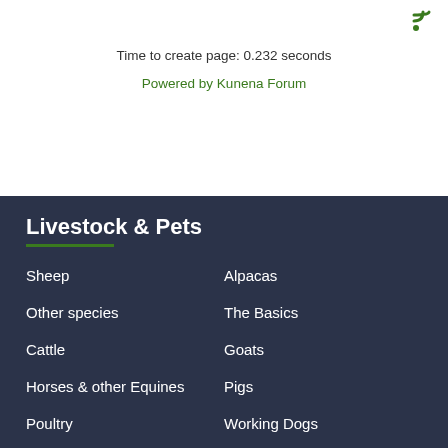[Figure (other): RSS feed icon in green, top right corner]
Time to create page: 0.232 seconds
Powered by Kunena Forum
Livestock & Pets
Sheep
Alpacas
Other species
The Basics
Cattle
Goats
Horses & other Equines
Pigs
Poultry
Working Dogs